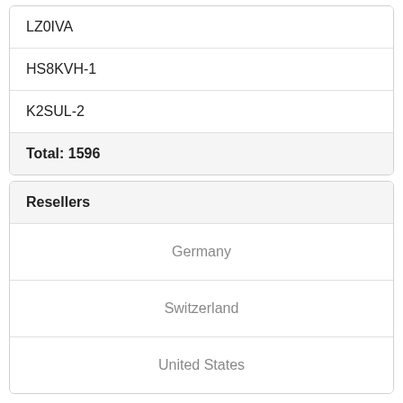| LZ0IVA |
| HS8KVH-1 |
| K2SUL-2 |
| Total: 1596 |
| Resellers |
| --- |
| Germany |
| Switzerland |
| United States |